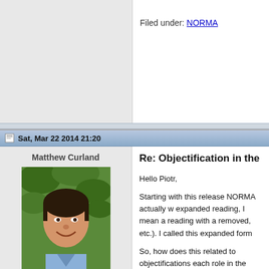Filed under: NORMA
Sat, Mar 22 2014 21:20
Matthew Curland
[Figure (photo): Profile photo of Matthew Curland, a man smiling outdoors with green foliage background]
Joined on Sat, Mar 8 2008
Posts 449
Re: Objectification in the latest
Hello Piotr,

Starting with this release NORMA actually w expanded reading, I mean a reading with a removed, etc.). I called this expanded form

So, how does this related to objectifications each role in the objectified fact type. These objectified role players, and are given defau where you objectify a ring fact type, you ge

As with most errors, you can jump to the pl the error in the Error Validation list of the hi activation will select a role in the fact type a window, which shows you the readings for t here. Although the error will clear, I recomm this case, you could change the readings fo involved in ItemDirectlyPrecedesItem and